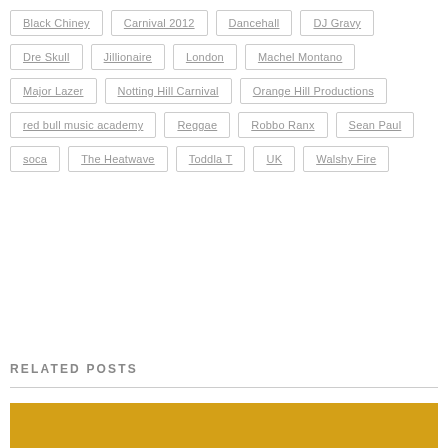Black Chiney
Carnival 2012
Dancehall
DJ Gravy
Dre Skull
Jillionaire
London
Machel Montano
Major Lazer
Notting Hill Carnival
Orange Hill Productions
red bull music academy
Reggae
Robbo Ranx
Sean Paul
soca
The Heatwave
Toddla T
UK
Walshy Fire
RELATED POSTS